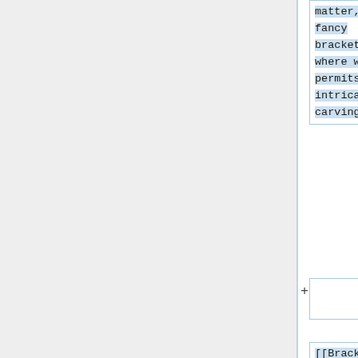matter, or fancy brackets where wood permits intricate carving.
+
[[Brackets#Wood Brackets|Wood brackets]] are mostly free to make, and their wide open scope for styling makes them an opportunity